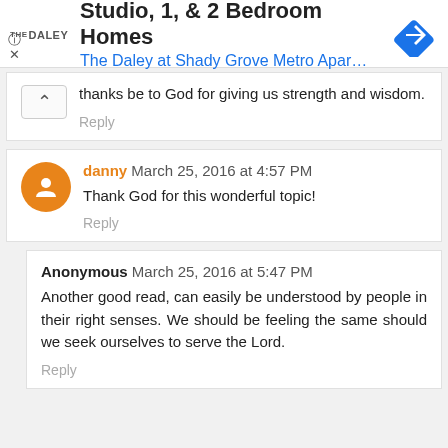[Figure (other): Advertisement banner for The Daley at Shady Grove Metro Apartments — Studio, 1, & 2 Bedroom Homes]
thanks be to God for giving us strength and wisdom.
Reply
danny March 25, 2016 at 4:57 PM
Thank God for this wonderful topic!
Reply
Anonymous March 25, 2016 at 5:47 PM
Another good read, can easily be understood by people in their right senses. We should be feeling the same should we seek ourselves to serve the Lord.
Reply